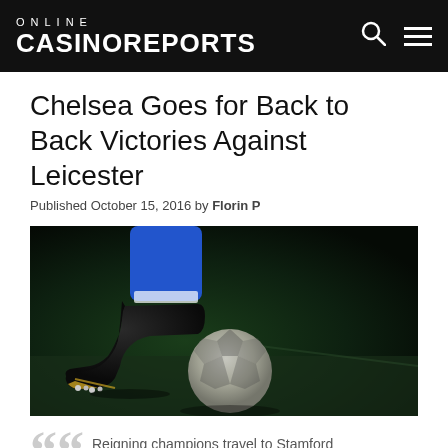ONLINE CASINOREPORTS
Chelsea Goes for Back to Back Victories Against Leicester
Published October 15, 2016 by Florin P
[Figure (photo): Close-up of a football boot in blue sock pressing down on a soccer ball on green grass, dark background]
Reigning champions travel to Stamford